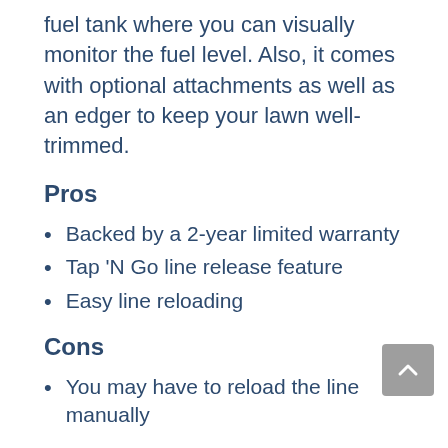fuel tank where you can visually monitor the fuel level. Also, it comes with optional attachments as well as an edger to keep your lawn well-trimmed.
Pros
Backed by a 2-year limited warranty
Tap 'N Go line release feature
Easy line reloading
Cons
You may have to reload the line manually
Check on Amazon